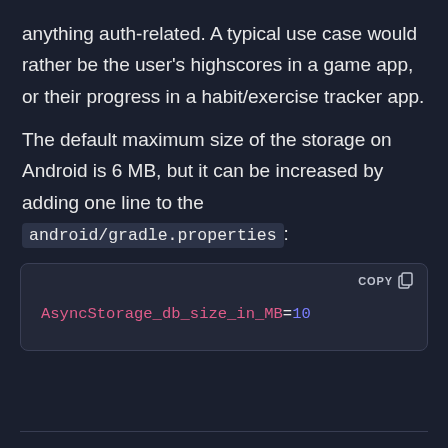anything auth-related. A typical use case would rather be the user's highscores in a game app, or their progress in a habit/exercise tracker app.
The default maximum size of the storage on Android is 6 MB, but it can be increased by adding one line to the android/gradle.properties:
[Figure (screenshot): Code block showing: AsyncStorage_db_size_in_MB=10 with a COPY button in the top right]